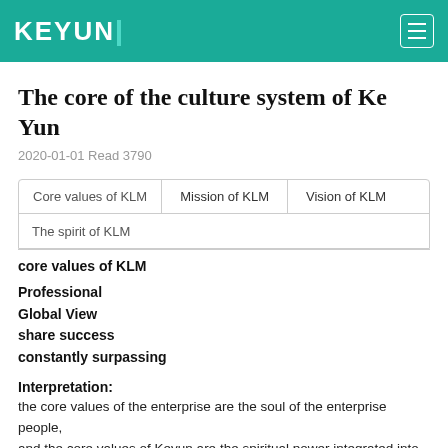KEYUNI
The core of the culture system of Ke Yun
2020-01-01 Read 3790
Core values of KLM | Mission of KLM | Vision of KLM
The spirit of KLM
core values of KLM
Professional
Global View
share success
constantly surpassing
Interpretation:
the core values of the enterprise are the soul of the enterprise people, and the core values of Keyun are the spiritual power integrated into the